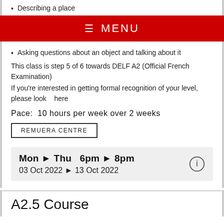Describing a place
MENU
Asking questions about an object and talking about it
This class is step 5 of 6 towards DELF A2 (Official French Examination)
If you're interested in getting formal recognition of your level, please look   here
Pace:  10 hours per week over 2 weeks
REMUERA CENTRE
Mon ▶ Thu   6pm ▶ 8pm
03 Oct 2022 ▶ 13 Oct 2022
A2.5 Course